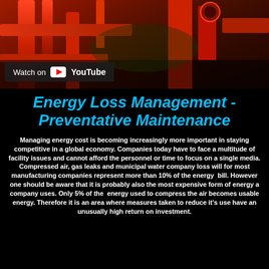[Figure (screenshot): YouTube video thumbnail showing red industrial machinery/equipment (compressed air or gas equipment) with a 'Watch on YouTube' badge overlaid at the bottom left]
Energy Loss Management - Preventative Maintenance
Managing energy cost is becoming increasingly more important in staying competitive in a global economy. Companies today have to face a multitude of facility issues and cannot afford the personnel or time to focus on a single media. Compressed air, gas leaks and municipal water company loss will for most manufacturing companies represent more than 10% of the energy  bill. However one should be aware that it is probably also the most expensive form of energy a company uses. Only 5% of the  energy used to compress the air becomes usable energy. Therefore it is an area where measures taken to reduce it's use have an unusually high return on investment.